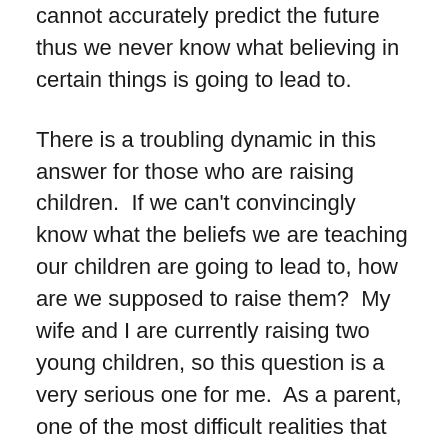cannot accurately predict the future thus we never know what believing in certain things is going to lead to.
There is a troubling dynamic in this answer for those who are raising children.  If we can't convincingly know what the beliefs we are teaching our children are going to lead to, how are we supposed to raise them?  My wife and I are currently raising two young children, so this question is a very serious one for me.  As a parent, one of the most difficult realities that you are faced with is the understanding that you may do a great job teaching your children to love and respect the people around them and they still may turn out to be humans who take actions that appear angry, violent and anti-social.  Humans are filled with complexities are impossible to completely understand.  We can read the all of the “right” books, make the “correct” sacrifices and do what we think are the